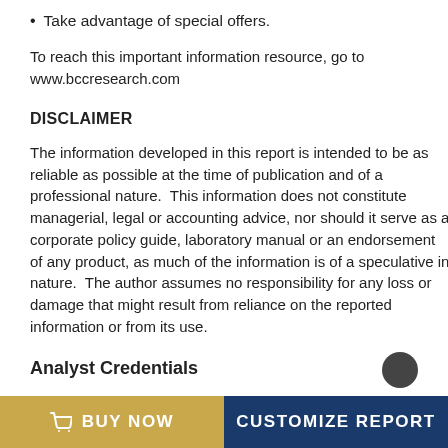Take advantage of special offers.
To reach this important information resource, go to www.bccresearch.com
DISCLAIMER
The information developed in this report is intended to be as reliable as possible at the time of publication and of a professional nature.  This information does not constitute managerial, legal or accounting advice, nor should it serve as a corporate policy guide, laboratory manual or an endorsement of any product, as much of the information is of a speculative in nature.  The author assumes no responsibility for any loss or damage that might result from reliance on the reported information or from its use.
Analyst Credentials
BUY NOW   CUSTOMIZE REPORT